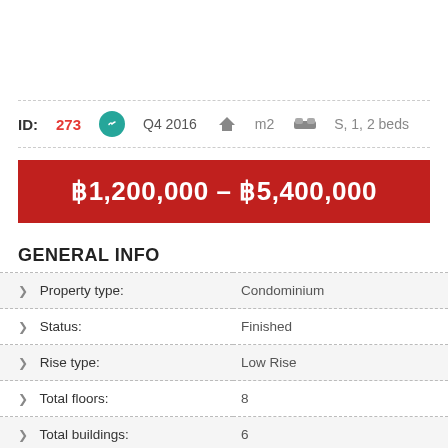ID: 273  Q4 2016  m2  S, 1, 2 beds
฿1,200,000 – ฿5,400,000
GENERAL INFO
| Field | Value |
| --- | --- |
| Property type: | Condominium |
| Status: | Finished |
| Rise type: | Low Rise |
| Total floors: | 8 |
| Total buildings: | 6 |
| Total units: | 978 |